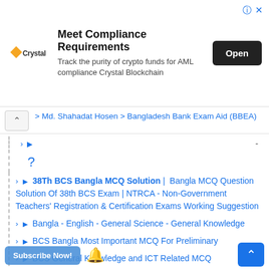[Figure (screenshot): Advertisement banner for Crystal Blockchain - Meet Compliance Requirements]
> Md. Shahadat Hosen > Bangladesh Bank Exam Aid (BBEA)
> ▶ -
?
> ▶ 38Th BCS Bangla MCQ Solution | Bangla MCQ Question Solution Of 38th BCS Exam | NTRCA - Non-Government Teachers' Registration & Certification Exams Working Suggestion
> ▶ Bangla - English - General Science - General Knowledge
> ▶ BCS Bangla Most Important MCQ For Preliminary
> ▶ BCS General Knowledge and ICT Related MCQ